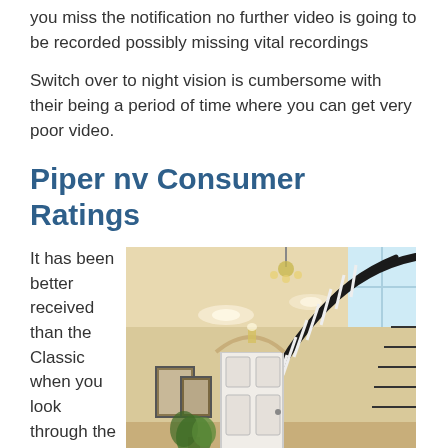you miss the notification no further video is going to be recorded possibly missing vital recordings
Switch over to night vision is cumbersome with their being a period of time where you can get very poor video.
Piper nv Consumer Ratings
It has been better received than the Classic when you look through the customer
[Figure (photo): Interior home entryway with a curved staircase featuring black railings and white balusters, warm beige walls, recessed lighting, white front door, framed pictures, and a plant.]